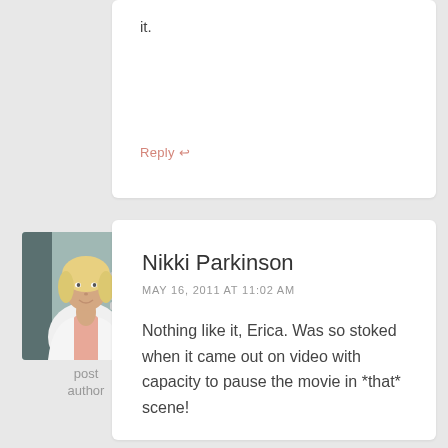it.
Reply ↩
[Figure (photo): Avatar photo of post author, a woman with blonde hair wearing a white jacket]
post author
Nikki Parkinson
MAY 16, 2011 AT 11:02 AM
Nothing like it, Erica. Was so stoked when it came out on video with capacity to pause the movie in *that* scene!
Reply ↩